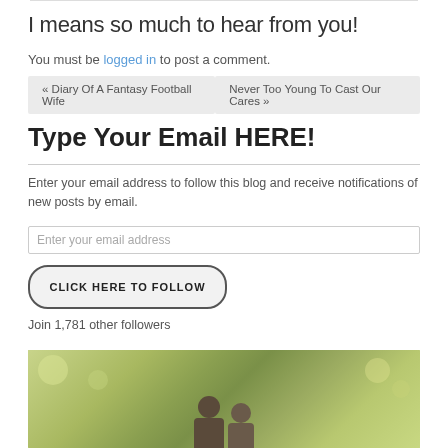I means so much to hear from you!
You must be logged in to post a comment.
« Diary Of A Fantasy Football Wife
Never Too Young To Cast Our Cares »
Type Your Email HERE!
Enter your email address to follow this blog and receive notifications of new posts by email.
Enter your email address
CLICK HERE TO FOLLOW
Join 1,781 other followers
[Figure (photo): Outdoor family photo with bokeh green background showing two adults and children]